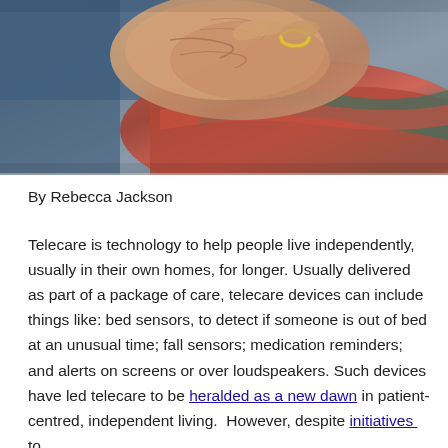[Figure (photo): Close-up photo of elderly person's hands holding a colorful patterned textile/scarf, wearing a gold ring. Blue clothing visible.]
By Rebecca Jackson
Telecare is technology to help people live independently, usually in their own homes, for longer. Usually delivered as part of a package of care, telecare devices can include things like: bed sensors, to detect if someone is out of bed at an unusual time; fall sensors; medication reminders; and alerts on screens or over loudspeakers. Such devices have led telecare to be heralded as a new dawn in patient-centred, independent living.  However, despite initiatives  to drive its application for whole-system change in the UK in